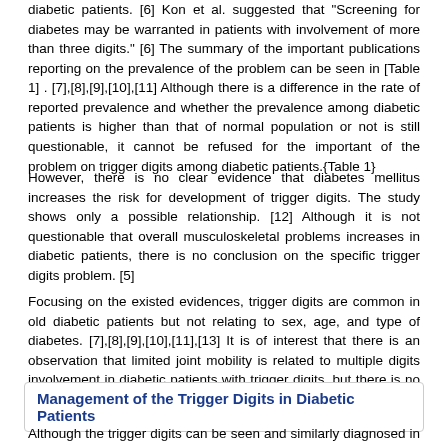diabetic patients. [6] Kon et al. suggested that "Screening for diabetes may be warranted in patients with involvement of more than three digits." [6] The summary of the important publications reporting on the prevalence of the problem can be seen in [Table 1] . [7],[8],[9],[10],[11] Although there is a difference in the rate of reported prevalence and whether the prevalence among diabetic patients is higher than that of normal population or not is still questionable, it cannot be refused for the important of the problem on trigger digits among diabetic patients.{Table 1}
However, there is no clear evidence that diabetes mellitus increases the risk for development of trigger digits. The study shows only a possible relationship. [12] Although it is not questionable that overall musculoskeletal problems increases in diabetic patients, there is no conclusion on the specific trigger digits problem. [5]
Focusing on the existed evidences, trigger digits are common in old diabetic patients but not relating to sex, age, and type of diabetes. [7],[8],[9],[10],[11],[13] It is of interest that there is an observation that limited joint mobility is related to multiple digits involvement in diabetic patients with trigger digits, but there is no relationship with age, sex, type of diabetes. [14]
Management of the Trigger Digits in Diabetic Patients
Although the trigger digits can be seen and similarly diagnosed in both normal and diabetic patients, natural history of the condition in diabetic